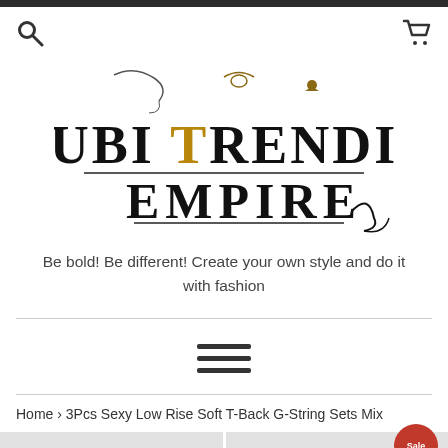[Figure (logo): Kaubi Trending Empire logo with decorative serif font and gold accents]
Be bold! Be different! Create your own style and do it with fashion
Home › 3Pcs Sexy Low Rise Soft T-Back G-String Sets Mix
[Figure (photo): Product preview images at the bottom of the page with Sale badge]